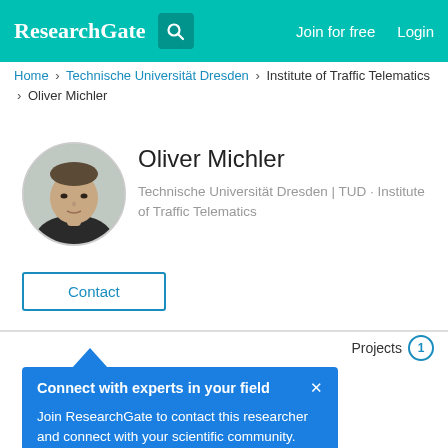ResearchGate — Join for free  Login
Home > Technische Universität Dresden > Institute of Traffic Telematics > Oliver Michler
[Figure (photo): Circular profile photo of Oliver Michler]
Oliver Michler
Technische Universität Dresden | TUD · Institute of Traffic Telematics
Contact
Projects 1
Connect with experts in your field ×

Join ResearchGate to contact this researcher and connect with your scientific community.